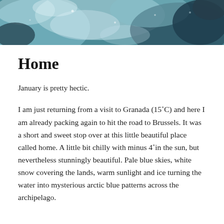[Figure (photo): A teal and icy blue abstract photo likely showing ice, snow or water patterns from above, used as a header banner image.]
Home
January is pretty hectic.
I am just returning from a visit to Granada (15˚C) and here I am already packing again to hit the road to Brussels. It was a short and sweet stop over at this little beautiful place called home. A little bit chilly with minus 4˚in the sun, but nevertheless stunningly beautiful. Pale blue skies, white snow covering the lands, warm sunlight and ice turning the water into mysterious arctic blue patterns across the archipelago.